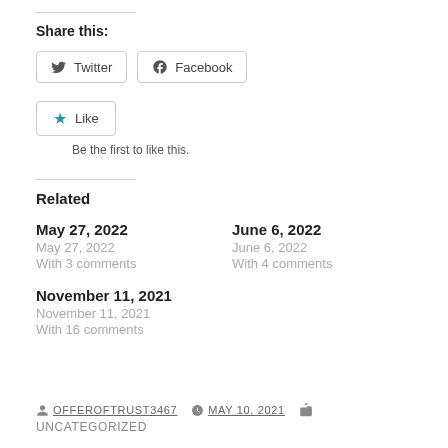Share this:
Twitter  Facebook
Like
Be the first to like this.
Related
May 27, 2022
May 27, 2022
With 3 comments
June 6, 2022
June 6, 2022
With 4 comments
November 11, 2021
November 11, 2021
With 16 comments
OFFEROFTRUST3467   MAY 10, 2021
UNCATEGORIZED